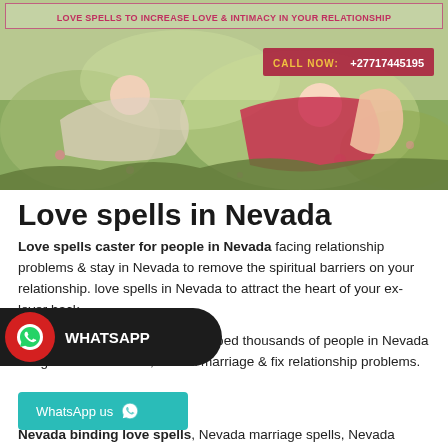[Figure (photo): Banner image showing a couple in a field with flowers. Overlaid text at top reads 'LOVE SPELLS TO INCREASE LOVE & INTIMACY IN YOUR RELATIONSHIP' in pink/red on white border. A red call-to-action box shows 'CALL NOW: +27717445195'.]
Love spells in Nevada
Love spells caster for people in Nevada facing relationship problems & stay in Nevada to remove the spiritual barriers on your relationship. love spells in Nevada to attract the heart of your ex-lover back.
My Nevada love spells have helped thousands of people in Nevada bring back an ex-lover, save a marriage & fix relationship problems.
[Figure (infographic): WhatsApp floating button bar (dark pill shape with red WhatsApp icon and white WHATSAPP label) and a teal 'WhatsApp us' button below it.]
Nevada binding love spells, Nevada marriage spells, Nevada